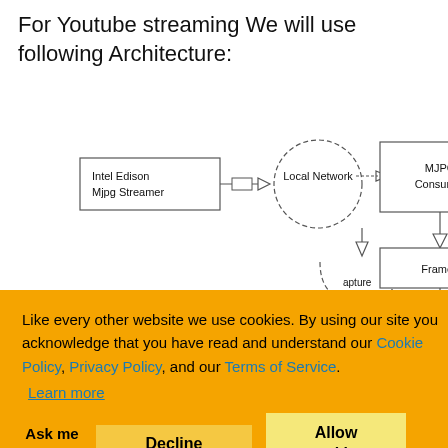For Youtube streaming We will use following Architecture:
[Figure (flowchart): Architecture diagram showing Intel Edison Mjpg Streamer connecting via arrow to Local Network (circle, dashed), then to MJPG Consumer box, with downstream components: Capture Audio (partial circle, dashed), Frames box, and Re-Encoding (ffmpeg) box, leading to rtp circle at bottom.]
Like every other website we use cookies. By using our site you acknowledge that you have read and understand our Cookie Policy, Privacy Policy, and our Terms of Service. Learn more
Ask me later
Decline
Allow cookies